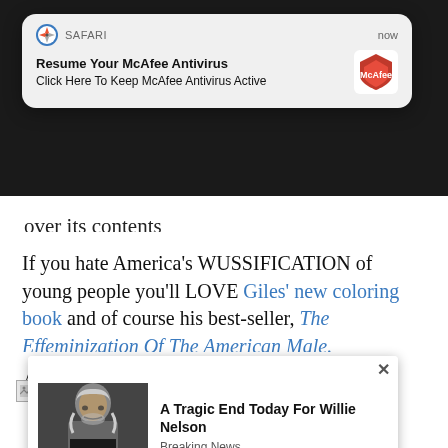[Figure (screenshot): Safari browser push notification popup for McAfee Antivirus with title 'Resume Your McAfee Antivirus' and subtitle 'Click Here To Keep McAfee Antivirus Active', showing McAfee logo, labeled 'now']
over its contents
If you hate America’s WUSSIFICATION of young people you’ll LOVE Giles’ new coloring book and of course his best-seller, The Effeminization Of The American Male.
Available now at Amazon:
[Figure (screenshot): Advertisement popup with photo of Willie Nelson and headline 'A Tragic End Today For Willie Nelson' with category label 'Breaking News'. Also shows a broken image icon to the left of the popup.]